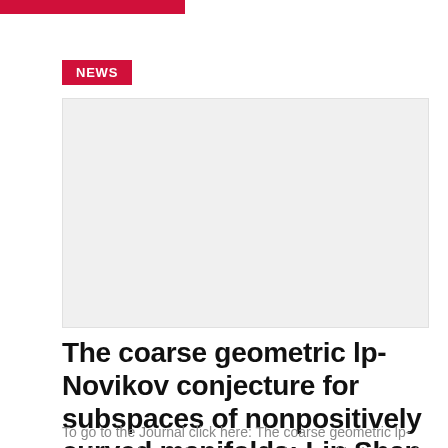NEWS
[Figure (photo): Image placeholder for journal article thumbnail]
The coarse geometric lp-Novikov conjecture for subspaces of nonpositively curved manifolds; Lin Shan, Qin Wang
To go to the Journal click here: The coarse geometric lp-Novikov conjecture for subspaces of nonpositively curved manifolds